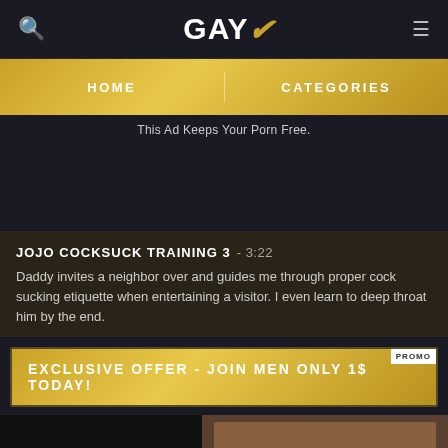GAYX
HOME   CATEGORIES
This Ad Keeps Your Porn Free.
JOJO COCKSUCK TRAINING 3 - 3:22
Daddy invites a neighbor over and guides me through proper cock sucking etiquette when entertaining a visitor. I even learn to deep throat him by the end.
EXCLUSIVE OFFER - JOIN MEN ONLY 1$ TODAY!